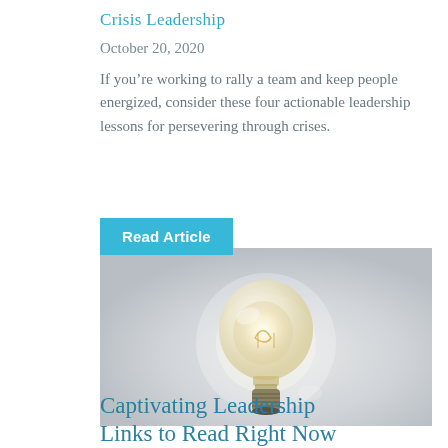Crisis Leadership
October 20, 2020
If you're working to rally a team and keep people energized, consider these four actionable leadership lessons for persevering through crises.
Read Article
[Figure (photo): A glowing incandescent light bulb against a light grey background, floating in mid-air.]
Captivating Leadership Links to Read Right Now